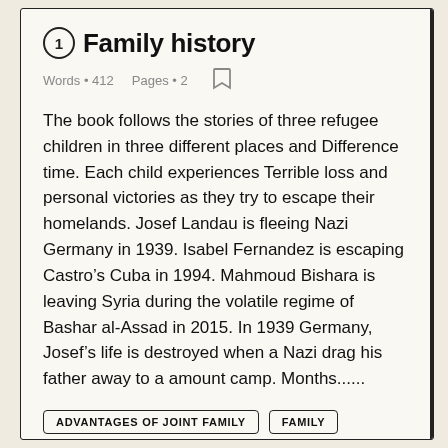① Family history
Words • 412    Pages • 2
The book follows the stories of three refugee children in three different places and Difference time. Each child experiences Terrible loss and personal victories as they try to escape their homelands. Josef Landau is fleeing Nazi Germany in 1939. Isabel Fernandez is escaping Castro's Cuba in 1994. Mahmoud Bishara is leaving Syria during the volatile regime of Bashar al-Assad in 2015. In 1939 Germany, Josef's life is destroyed when a Nazi drag his father away to a amount camp. Months......
ADVANTAGES OF JOINT FAMILY
FAMILY
FAMILY HISTORY
FAMILY VALUES
WAR